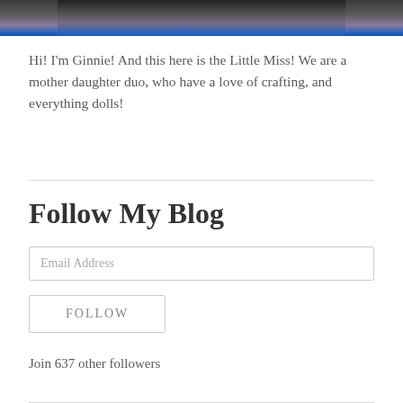[Figure (photo): Partial photograph at top of page showing two people, cropped at bottom edge of photo — a mother and daughter in dark and blue clothing respectively.]
Hi! I'm Ginnie! And this here is the Little Miss! We are a mother daughter duo, who have a love of crafting, and everything dolls!
Follow My Blog
Email Address
FOLLOW
Join 637 other followers